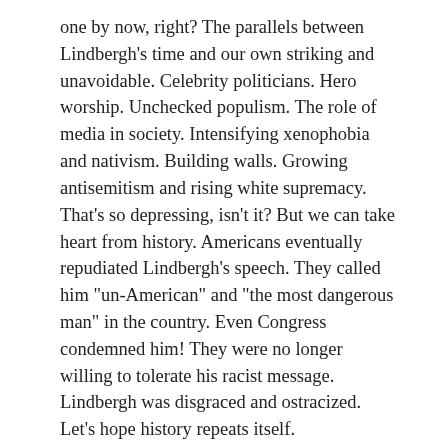one by now, right? The parallels between Lindbergh’s time and our own striking and unavoidable. Celebrity politicians. Hero worship. Unchecked populism. The role of media in society. Intensifying xenophobia and nativism. Building walls. Growing antisemitism and rising white supremacy. That’s so depressing, isn’t it? But we can take heart from history. Americans eventually repudiated Lindbergh’s speech. They called him “un-American” and “the most dangerous man” in the country. Even Congress condemned him! They were no longer willing to tolerate his racist message. Lindbergh was disgraced and ostracized. Let’s hope history repeats itself.
SHARE THIS:
[Figure (infographic): Row of seven circular social share icons: email (grey), Facebook (blue), LinkedIn (dark blue), Twitter (light blue), Tumblr (dark navy), Pinterest (red), Pocket (crimson red)]